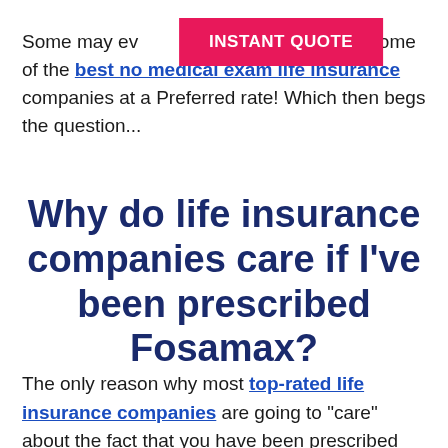Some may even qualify for some of the best no medical exam life insurance companies at a Preferred rate! Which then begs the question...
Why do life insurance companies care if I've been prescribed Fosamax?
The only reason why most top-rated life insurance companies are going to "care" about the fact that you have been prescribed Fosamax is because they're going to want to make sure it's not being used to help combat any type of